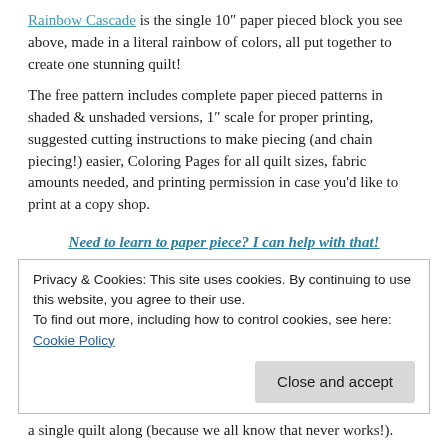Rainbow Cascade is the single 10″ paper pieced block you see above, made in a literal rainbow of colors, all put together to create one stunning quilt!
The free pattern includes complete paper pieced patterns in shaded & unshaded versions, 1″ scale for proper printing, suggested cutting instructions to make piecing (and chain piecing!) easier, Coloring Pages for all quilt sizes, fabric amounts needed, and printing permission in case you'd like to print at a copy shop.
Need to learn to paper piece? I can help with that!
Privacy & Cookies: This site uses cookies. By continuing to use this website, you agree to their use.
To find out more, including how to control cookies, see here: Cookie Policy
Close and accept
a single quilt along (because we all know that never works!).